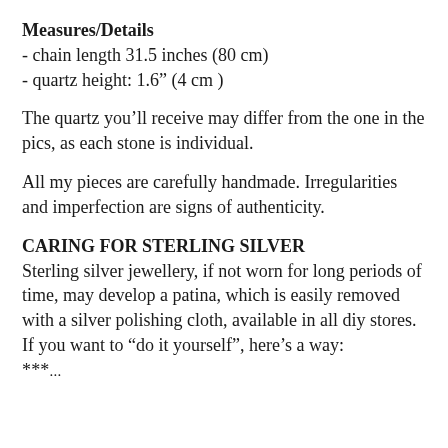Measures/Details
- chain length 31.5 inches (80 cm)
- quartz height: 1.6” (4 cm )
The quartz you’ll receive may differ from the one in the pics, as each stone is individual.
All my pieces are carefully handmade. Irregularities and imperfection are signs of authenticity.
CARING FOR STERLING SILVER
Sterling silver jewellery, if not worn for long periods of time, may develop a patina, which is easily removed with a silver polishing cloth, available in all diy stores.
If you want to “do it yourself”, here’s a way:
***...